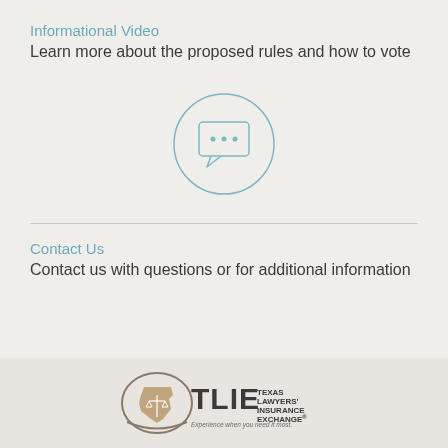Informational Video
Learn more about the proposed rules and how to vote
[Figure (illustration): Circle icon with a speech bubble containing three dots (chat/video icon)]
Contact Us
Contact us with questions or for additional information
[Figure (logo): TLIE - Texas Lawyers' Insurance Exchange logo with Texas state outline and tagline 'Experience when you need it most.']